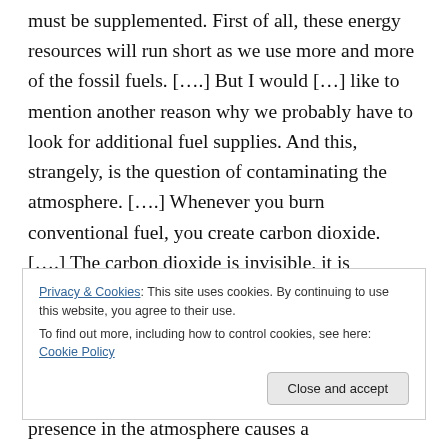must be supplemented. First of all, these energy resources will run short as we use more and more of the fossil fuels. [….] But I would […] like to mention another reason why we probably have to look for additional fuel supplies. And this, strangely, is the question of contaminating the atmosphere. [….] Whenever you burn conventional fuel, you create carbon dioxide. [….] The carbon dioxide is invisible, it is transparent, you can't smell it, it is not dangerous to health, so why should one worry
Privacy & Cookies: This site uses cookies. By continuing to use this website, you agree to their use. To find out more, including how to control cookies, see here: Cookie Policy
presence in the atmosphere causes a